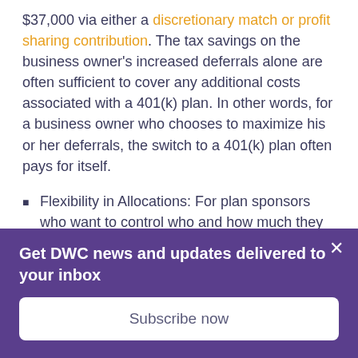$37,000 via either a discretionary match or profit sharing contribution. The tax savings on the business owner's increased deferrals alone are often sufficient to cover any additional costs associated with a 401(k) plan. In other words, for a business owner who chooses to maximize his or her deferrals, the switch to a 401(k) plan often pays for itself.
Flexibility in Allocations: For plan sponsors who want to control who and how much they allocate to each participant, a larger the
Get DWC news and updates delivered to your inbox
Subscribe now